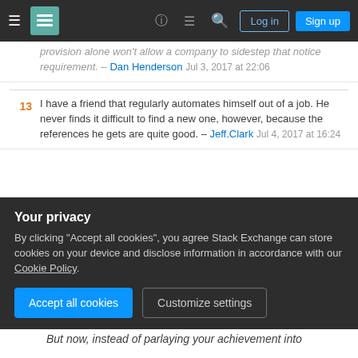Stack Exchange navigation bar with Log in and Sign up buttons
provision alone won't allow a company to sidestep that notice requirement. – Dan Henderson Jul 3, 2017 at 22:06
13 I have a friend that regularly automates himself out of a job. He never finds it difficult to find a new one, however, because the references he gets are quite good. – Jeff.Clark Jul 4, 2017 at 16:24
Show 4 more comments
Lots of good answers here but I think there's another aspect to this that you aren't considering.
182
Your privacy
By clicking "Accept all cookies", you agree Stack Exchange can store cookies on your device and disclose information in accordance with our Cookie Policy.
Accept all cookies  Customize settings
But now, instead of parlaying your achievement into